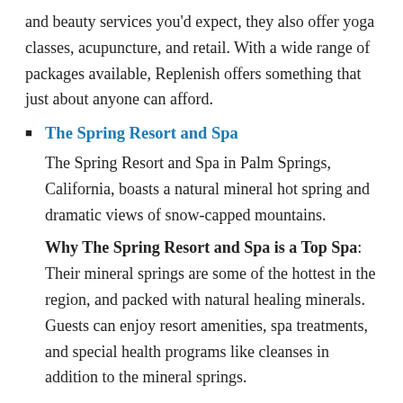and beauty services you'd expect, they also offer yoga classes, acupuncture, and retail. With a wide range of packages available, Replenish offers something that just about anyone can afford.
The Spring Resort and Spa
The Spring Resort and Spa in Palm Springs, California, boasts a natural mineral hot spring and dramatic views of snow-capped mountains.
Why The Spring Resort and Spa is a Top Spa: Their mineral springs are some of the hottest in the region, and packed with natural healing minerals. Guests can enjoy resort amenities, spa treatments, and special health programs like cleanses in addition to the mineral springs.
Aire Ancient Baths New York
[Figure (photo): Redacted black image block]